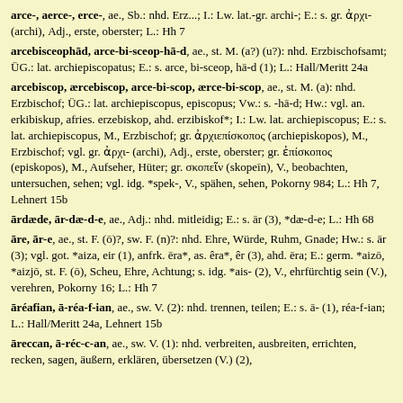arce-, aerce-, erce-, ae., Sb.: nhd. Erz...; I.: Lw. lat.-gr. archi-; E.: s. gr. ἀρχι- (archi), Adj., erste, oberster; L.: Hh 7
arcebisceophād, arce-bi-sceop-hā-d, ae., st. M. (a?) (u?): nhd. Erzbischofsamt; ÜG.: lat. archiepiscopatus; E.: s. arce, bi-sceop, hā-d (1); L.: Hall/Meritt 24a
arcebiscop, ærcebiscop, arce-bi-scop, ærce-bi-scop, ae., st. M. (a): nhd. Erzbischof; ÜG.: lat. archiepiscopus, episcopus; Vw.: s. -hā-d; Hw.: vgl. an. erkibiskup, afries. erzebiskop, ahd. erzibiskof*; I.: Lw. lat. archiepiscopus; E.: s. lat. archiepiscopus, M., Erzbischof; gr. ἀρχιεπίσκοπος (archiepiskopos), M., Erzbischof; vgl. gr. ἀρχι- (archi), Adj., erste, oberster; gr. ἐπίσκοπος (episkopos), M., Aufseher, Hüter; gr. σκοπεῖν (skopeīn), V., beobachten, untersuchen, sehen; vgl. idg. *spek-, V., spähen, sehen, Pokorny 984; L.: Hh 7, Lehnert 15b
ārdæde, ār-dæ-d-e, ae., Adj.: nhd. mitleidig; E.: s. ār (3), *dæ-d-e; L.: Hh 68
āre, ār-e, ae., st. F. (ō)?, sw. F. (n)?: nhd. Ehre, Würde, Ruhm, Gnade; Hw.: s. ār (3); vgl. got. *aiza, eir (1), anfrk. ēra*, as. êra*, êr (3), ahd. ēra; E.: germ. *aizō, *aizjō, st. F. (ō), Scheu, Ehre, Achtung; s. idg. *ais- (2), V., ehrfürchtig sein (V.), verehren, Pokorny 16; L.: Hh 7
āréafian, ā-réa-f-ian, ae., sw. V. (2): nhd. trennen, teilen; E.: s. ā- (1), réa-f-ian; L.: Hall/Meritt 24a, Lehnert 15b
āreccan, ā-réc-c-an, ae., sw. V. (1): nhd. verbreiten, ausbreiten, errichten, recken, sagen, äußern, erklären, übersetzen (V.) (2),